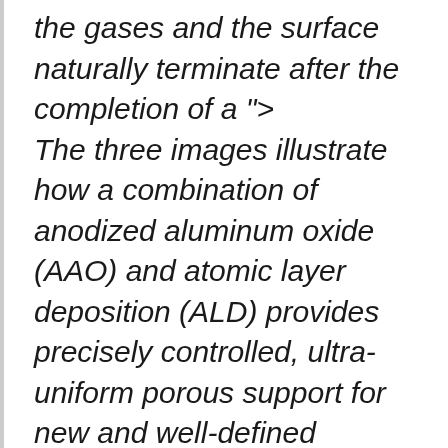the gases and the surface naturally terminate after the completion of a "> The three images illustrate how a combination of anodized aluminum oxide (AAO) and atomic layer deposition (ALD) provides precisely controlled, ultra-uniform porous support for new and well-defined catalysts. Credit: ANL